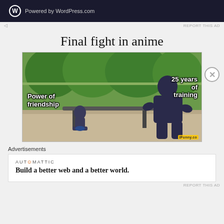[Figure (screenshot): WordPress.com advertisement banner with W logo and text 'Powered by WordPress.com' on dark background]
REPORT THIS AD
Final fight in anime
[Figure (photo): Meme image showing two statues on a bench — a small figure labeled 'Power of friendship' and a large muscular figure labeled '25 years of training'. Background is green trees. ifunny.co watermark at bottom right.]
Advertisements
[Figure (screenshot): AUTOMATTIC advertisement: 'Build a better web and a better world.']
REPORT THIS AD